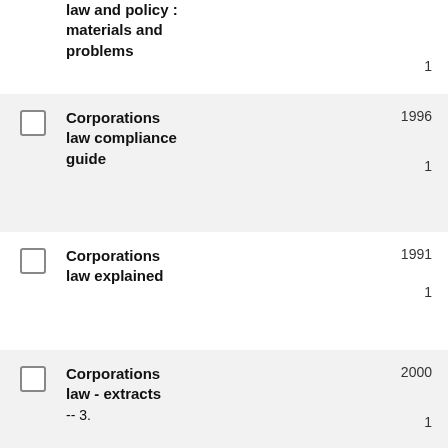law and policy : materials and problems
Corporations law compliance guide
Corporations law explained
Corporations law - extracts -- 3.